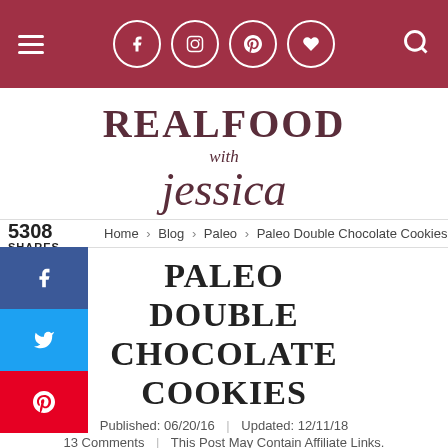Real Food with Jessica - navigation header with social icons
[Figure (logo): Real Food with Jessica logo in dark maroon serif/script font]
5308 SHARES
Home > Blog > Paleo > Paleo Double Chocolate Cookies
PALEO DOUBLE CHOCOLATE COOKIES
Published: 06/20/16 | Updated: 12/11/18
13 Comments | This Post May Contain Affiliate Links.
[Figure (illustration): Pinterest P badge circle icon]
These Paleo Double Chocolate Cookies are rich, fudgy, packed with chocolate and so